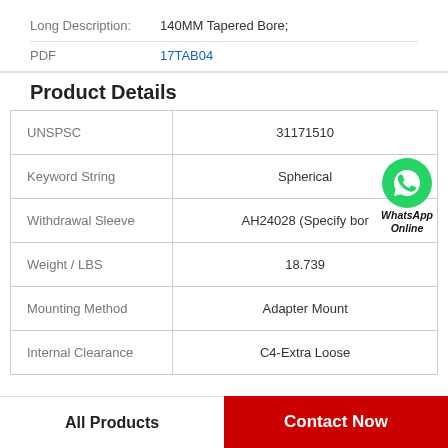Long Description: 140MM Tapered Bore;
PDF 17TAB04
Product Details
|  |  |
| --- | --- |
| UNSPSC | 31171510 |
| Keyword String | Spherical |
| Withdrawal Sleeve | AH24028 (Specify bor |
| Weight / LBS | 18.739 |
| Mounting Method | Adapter Mount |
| Internal Clearance | C4-Extra Loose |
WhatsApp Online
All Products | Contact Now